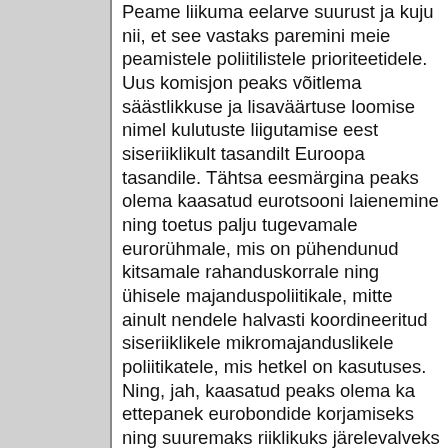Peame liikuma eelarve suurust ja kuju nii, et see vastaks paremini meie peamistele poliitilistele prioriteetidele. Uus komisjon peaks võitlema säästlikkuse ja lisaväärtuse loomise nimel kulutuste liigutamise eest siseriiklikult tasandilt Euroopa tasandile. Tähtsa eesmärgina peaks olema kaasatud eurotsooni laienemine ning toetus palju tugevamale eurorühmale, mis on pühendunud kitsamale rahanduskorrale ning ühisele majanduspoliitikale, mitte ainult nendele halvasti koordineeritud siseriiklikele mikromajanduslikele poliitikatele, mis hetkel on kasutuses. Ning, jah, kaasatud peaks olema ka ettepanek eurobondide korjamiseks ning suuremaks riiklikuks järelevalveks finantssektori üle ja korralik fiskaalstiimul, millega kaasneb korralik